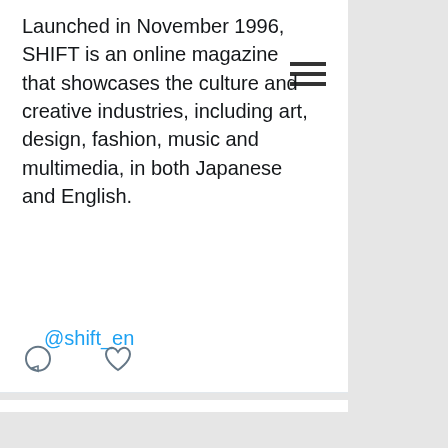Launched in November 1996, SHIFT is an online magazine that showcases the culture and creative industries, including art, design, fashion, music and multimedia, in both Japanese and English.
@shift_en
[Figure (screenshot): Twitter reply and like action icons (speech bubble outline and heart outline)]
[Figure (screenshot): Hamburger menu icon (three horizontal lines) in top right of tweet card]
Shift Mag Japan Retweeted
[Figure (illustration): Profile avatar of Amelia Ijiri - cartoon-style avatar of a woman with dark hair]
Amelia Ijiri @Tomodachi... · Jul 24
The Osaka-based perspective isn't simply about collecting local artists; it promotes a worldview that questions Western-centric art views and the assumption that Tokyo is the center of culture and information.
shift.jp.org/en/archives/20...